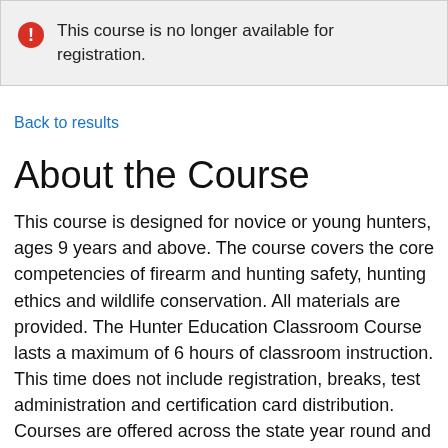This course is no longer available for registration.
Back to results
About the Course
This course is designed for novice or young hunters, ages 9 years and above. The course covers the core competencies of firearm and hunting safety, hunting ethics and wildlife conservation. All materials are provided. The Hunter Education Classroom Course lasts a maximum of 6 hours of classroom instruction. This time does not include registration, breaks, test administration and certification card distribution. Courses are offered across the state year round and are taught by certified volunteer instructors. The fee for the certification is $15. Some instructors may apply additional charges for the classroom venue or facility fee. Registration is...